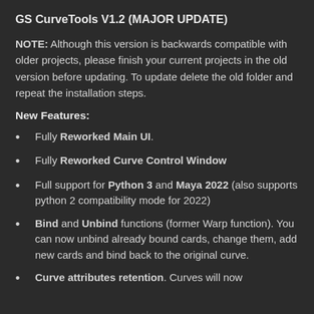GS CurveTools V1.2 (MAJOR UPDATE)
NOTE: Although this version is backwards compatible with older projects, please finish your current projects in the old version before updating. To update delete the old folder and repeat the installation steps.
New Features:
Fully Reworked Main UI.
Fully Reworked Curve Control Window
Full support for Python 3 and Maya 2022 (also supports python 2 compatibility mode for 2022)
Bind and Unbind functions (former Warp function). You can now unbind already bound cards, change them, add new cards and bind back to the original curve.
Curve attributes retention. Curves will now